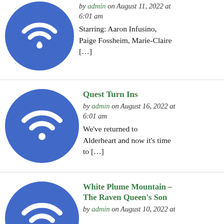[Figure (logo): Blue circle with white wifi signal icon]
by admin on August 11, 2022 at 6:01 am Starring: Aaron Infusino, Paige Fossheim, Marie-Claire [...]
[Figure (logo): Blue circle with white wifi signal icon]
Quest Turn Ins
by admin on August 16, 2022 at 6:01 am We've returned to Alderheart and now it's time to [...]
[Figure (logo): Blue circle with white wifi signal icon (partially visible)]
White Plume Mountain – The Raven Queen's Son
by admin on August 10, 2022 at